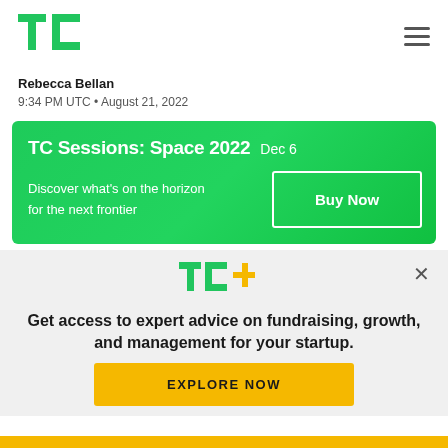TechCrunch logo and navigation
Rebecca Bellan
9:34 PM UTC • August 21, 2022
[Figure (infographic): TC Sessions: Space 2022 promotional banner with green gradient background, title 'TC Sessions: Space 2022 Dec 6', tagline 'Discover what's on the horizon for the next frontier', and a 'Buy Now' button]
[Figure (infographic): TC+ subscription promo overlay on light gray background with TC+ logo, tagline 'Get access to expert advice on fundraising, growth, and management for your startup.' and yellow 'EXPLORE NOW' button]